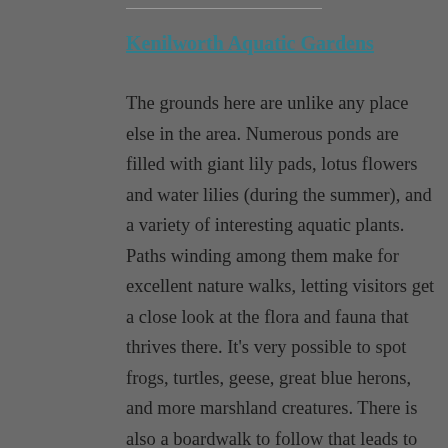Kenilworth Aquatic Gardens
The grounds here are unlike any place else in the area. Numerous ponds are filled with giant lily pads, lotus flowers and water lilies (during the summer), and a variety of interesting aquatic plants. Paths winding among them make for excellent nature walks, letting visitors get a close look at the flora and fauna that thrives there. It’s very possible to spot frogs, turtles, geese, great blue herons, and more marshland creatures. There is also a boardwalk to follow that leads to wetlands that are a tidal flood plain of the Anacostia River. Lookouts offer great views as well as areas to